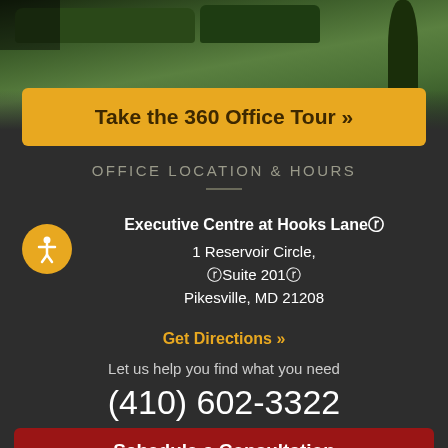[Figure (photo): Exterior photo of office building with green grass, hedges, and trees in the background]
Take the 360 Office Tour »
OFFICE LOCATION & HOURS
Executive Centre at Hooks Lane
1 Reservoir Circle,
Suite 201
Pikesville, MD 21208
Get Directions »
Let us help you find what you need
(410) 602-3322
Schedule a Consultation